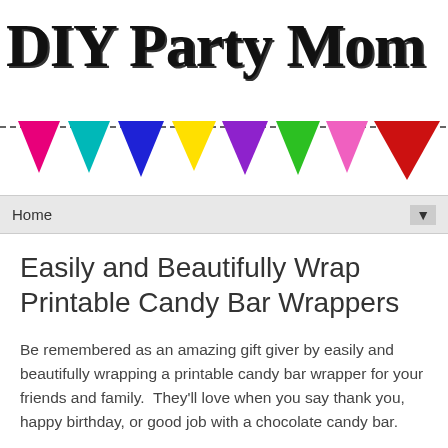DIY Party Mom
[Figure (illustration): Colorful party bunting banner with triangular flags in pink, teal, blue, yellow, purple, green, pink, and red on a dashed string]
Home
Easily and Beautifully Wrap Printable Candy Bar Wrappers
Be remembered as an amazing gift giver by easily and beautifully wrapping a printable candy bar wrapper for your friends and family.  They'll love when you say thank you, happy birthday, or good job with a chocolate candy bar.
[Figure (screenshot): Thumbnail preview image with beige background showing text: Easily and Beautifully Wrap A Printable Candy Bar Wrapper]